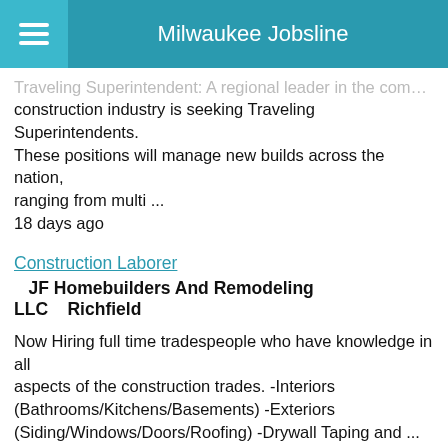Milwaukee Jobsline
Traveling Superintendent: A regional leader in the commercial construction industry is seeking Traveling Superintendents. These positions will manage new builds across the nation, ranging from multi ...
18 days ago
Construction Laborer   JF Homebuilders And Remodeling LLC   Richfield
Now Hiring full time tradespeople who have knowledge in all aspects of the construction trades. -Interiors (Bathrooms/Kitchens/Basements) -Exteriors (Siding/Windows/Doors/Roofing) -Drywall Taping and ...
4 days ago
Construction Project Manager   First Onsite - US   Milwaukee
POSITION PURPOSE The Construction Project Manager is responsible for, but is not limited to, handling emergency calls and qualifying losses. Perform site inspections, estimate and